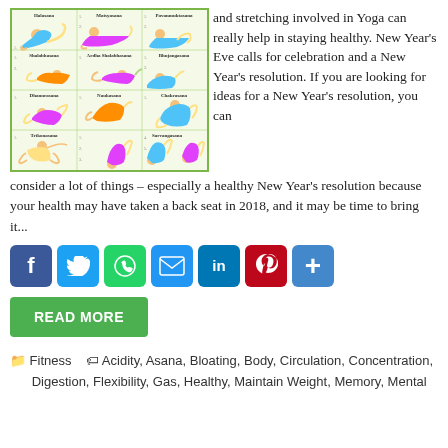[Figure (illustration): Yoga poses chart showing multiple asanas including Halasana, Matsyasana, Pavanmuktasana, Shalabhasana, Ardha Shalabhasana, Bhujangasana, Dhanurasana, Naukasana, Chakrasana, Trikonasana, and Sarvangasana, illustrated with colored figures in a green-bordered grid.]
and stretching involved in Yoga can really help in staying healthy. New Year's Eve calls for celebration and a New Year's resolution. If you are looking for ideas for a New Year's resolution, you can consider a lot of things – especially a healthy New Year's resolution because your health may have taken a back seat in 2018, and it may be time to bring it...
[Figure (infographic): Social media sharing buttons: Facebook, Twitter, WhatsApp, Email, LinkedIn, Pinterest, and a plus/share button.]
READ MORE
Fitness   Acidity, Asana, Bloating, Body, Circulation, Concentration, Digestion, Flexibility, Gas, Healthy, Maintain Weight, Memory, Mental